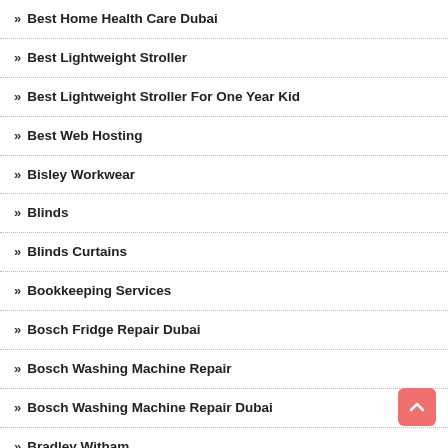» Best Home Health Care Dubai
» Best Lightweight Stroller
» Best Lightweight Stroller For One Year Kid
» Best Web Hosting
» Bisley Workwear
» Blinds
» Blinds Curtains
» Bookkeeping Services
» Bosch Fridge Repair Dubai
» Bosch Washing Machine Repair
» Bosch Washing Machine Repair Dubai
» Bradley Witham
» Bridal Dance